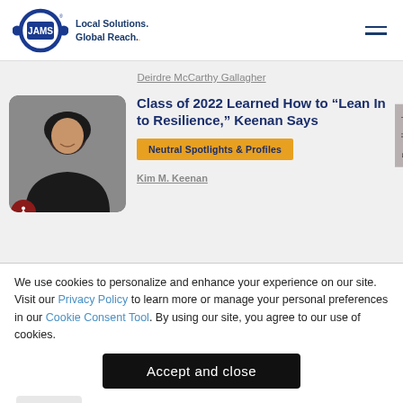JAMS Local Solutions. Global Reach.
Deirdre McCarthy Gallagher
[Figure (photo): Professional headshot of a woman in a black outfit against a grey background]
Class of 2022 Learned How to “Lean In to Resilience,” Keenan Says
Neutral Spotlights & Profiles
Kim M. Keenan
We use cookies to personalize and enhance your experience on our site. Visit our Privacy Policy to learn more or manage your personal preferences in our Cookie Consent Tool. By using our site, you agree to our use of cookies.
Accept and close
Options